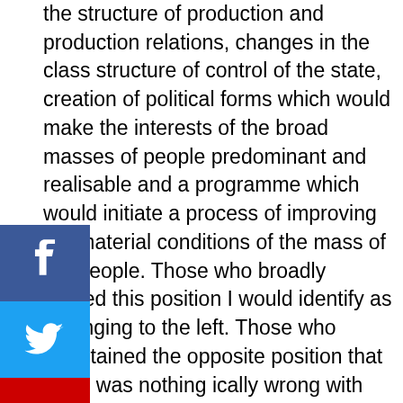the structure of production and production relations, changes in the class structure of control of the state, creation of political forms which would make the interests of the broad masses of people predominant and realisable and a programme which would initiate a process of improving the material conditions of the mass of the people. Those who broadly shared this position I would identify as belonging to the left. Those who entertained the opposite position that there was nothing [radic]ically wrong with the nature of the country's structure [of p]roduction or production relations or the nature of [eco]nomic relations with Western capitalist countries or [the s]tructure of power, class relations or the nature of [th]e power, and that only certain aspects of its [fun]ctioning needed to be reformed. I would identify as the [...] I think Hansen is correct and I have long seen [F...] as being part of the 'left' in this definition.
[Figure (illustration): Social media share icons: Facebook (blue), Twitter (light blue), YouTube (red), WhatsApp (green) arranged vertically on the left side of the page]